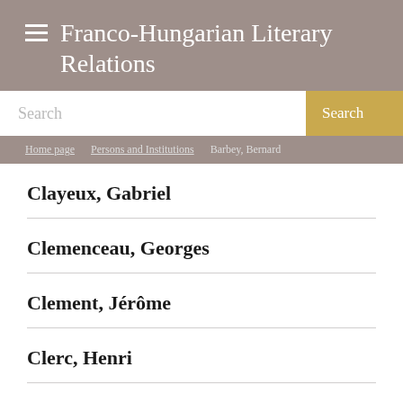Franco-Hungarian Literary Relations
Search
Home page > Persons and Institutions > Barbey, Bernard
Clayeux, Gabriel
Clemenceau, Georges
Clement, Jérôme
Clerc, Henri